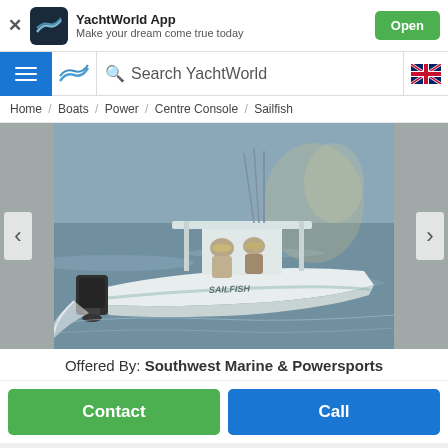[Figure (screenshot): YachtWorld App banner with logo, name, tagline, and Open button]
Search YachtWorld
Home / Boats / Power / Centre Console / Sailfish
[Figure (photo): A white Sailfish centre console boat with T-top, two people on board, outboard motor, moving through water at speed]
Offered By: Southwest Marine & Powersports
Contact
Call